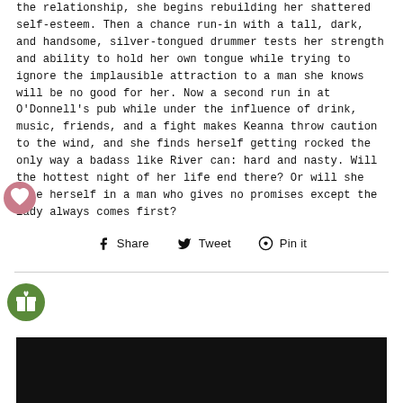the relationship, she begins rebuilding her shattered self-esteem. Then a chance run-in with a tall, dark, and handsome, silver-tongued drummer tests her strength and ability to hold her own tongue while trying to ignore the implausible attraction to a man she knows will be no good for her. Now a second run in at O'Donnell's pub while under the influence of drink, music, friends, and a fight makes Keanna throw caution to the wind, and she finds herself getting rocked the only way a badass like River can: hard and nasty. Will the hottest night of her life end there? Or will she lose herself in a man who gives no promises except the lady always comes first?
[Figure (other): Heart/wishlist icon - pink circle with white heart]
[Figure (other): Share buttons row: Facebook Share, Twitter Tweet, Pinterest Pin it]
[Figure (other): Gift/tag icon - green circle with gift box symbol]
[Figure (other): Black banner/image bar at bottom of page]